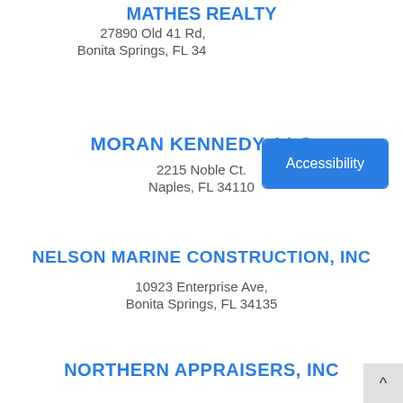MATHES REALTY
27890 Old 41 Rd,
Bonita Springs, FL 34[truncated]
MORAN KENNEDY, LLC
2215 Noble Ct.
Naples, FL 34110
NELSON MARINE CONSTRUCTION, INC
10923 Enterprise Ave,
Bonita Springs, FL 34135
NORTHERN APPRAISERS, INC